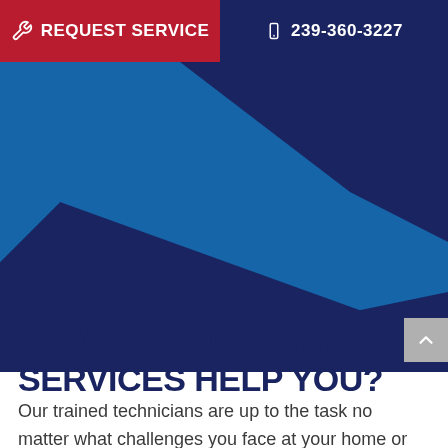REQUEST SERVICE   239-360-3227
[Figure (illustration): Blue diagonal banner graphic with darker navy and medium blue angular shapes forming a decorative background banner]
HOW CAN MODERN SERVICES HELP YOU?
Our trained technicians are up to the task no matter what challenges you face at your home or commercial location.